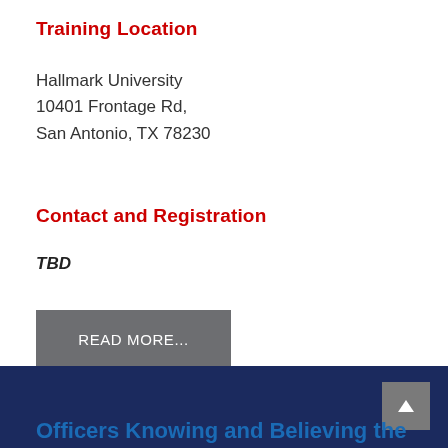Training Location
Hallmark University
10401 Frontage Rd,
San Antonio, TX 78230
Contact and Registration
TBD
READ MORE...
Officers Knowing and Believing the